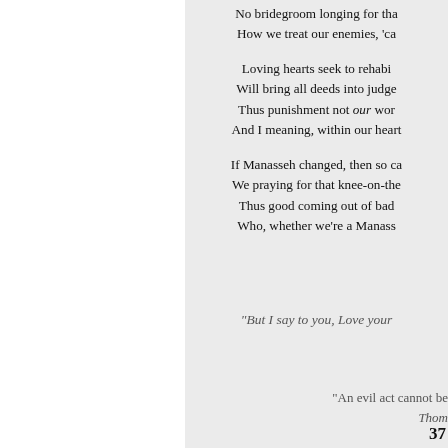No bridegroom longing for tha
How we treat our enemies, 'ca

Loving hearts seek to rehabi
Will bring all deeds into judge
Thus punishment not our wor
And I meaning, within our heart

If Manasseh changed, then so ca
We praying for that knee-on-the
Thus good coming out of bad
Who, whether we're a Manass
"But I say to you, Love your
"An evil act cannot be
Thom
37